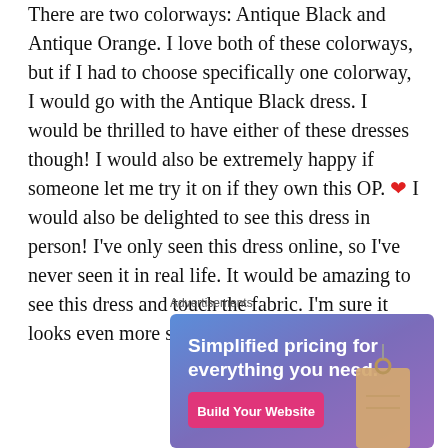There are two colorways: Antique Black and Antique Orange. I love both of these colorways, but if I had to choose specifically one colorway, I would go with the Antique Black dress. I would be thrilled to have either of these dresses though! I would also be extremely happy if someone let me try it on if they own this OP. ❤ I would also be delighted to see this dress in person! I've only seen this dress online, so I've never seen it in real life. It would be amazing to see this dress and touch the fabric. I'm sure it looks even more stunning in person!
Advertisements
[Figure (infographic): Advertisement banner with gradient blue-purple background. Large white text reads 'Simplified pricing for everything you need.' A pink/magenta button reads 'Build Your Website'. A tan/beige price tag graphic is visible on the right side.]